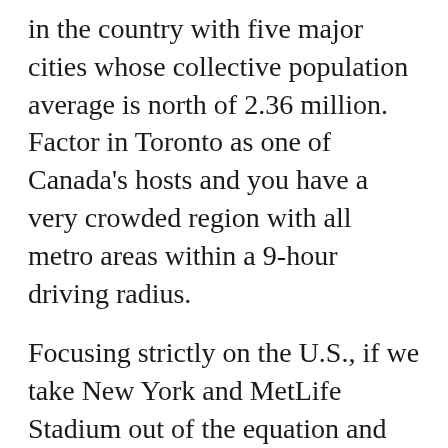in the country with five major cities whose collective population average is north of 2.36 million. Factor in Toronto as one of Canada's hosts and you have a very crowded region with all metro areas within a 9-hour driving radius.
Focusing strictly on the U.S., if we take New York and MetLife Stadium out of the equation and consider it a lock, that leaves Boston, Philadelphia, Washington, D.C., and Baltimore as options. While the region could essentially host the entire tournament on its own, unfortunately, there's likely another two slots available among the final 11.
Where does that leave us? From a neutral stand point, Baltimore is the most obvious to trim